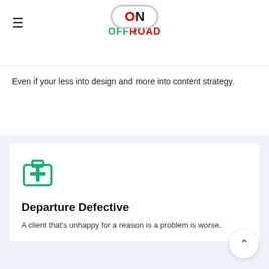ON OFFROAD
Even if your less into design and more into content strategy.
[Figure (illustration): Medical kit / first aid box icon in teal/green color]
Departure Defective
A client that's unhappy for a reason is a problem is worse.